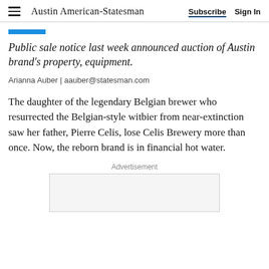Austin American-Statesman | Subscribe | Sign In
Public sale notice last week announced auction of Austin brand's property, equipment.
Arianna Auber | aauber@statesman.com
The daughter of the legendary Belgian brewer who resurrected the Belgian-style witbier from near-extinction saw her father, Pierre Celis, lose Celis Brewery more than once. Now, the reborn brand is in financial hot water.
Advertisement